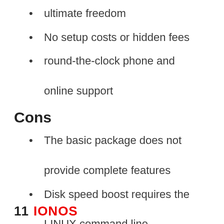ultimate freedom
No setup costs or hidden fees
round-the-clock phone and online support
Cons
The basic package does not provide complete features
Disk speed boost requires the LINUX command line
Free contract buyout service is available on annual payments only
11 IONOS